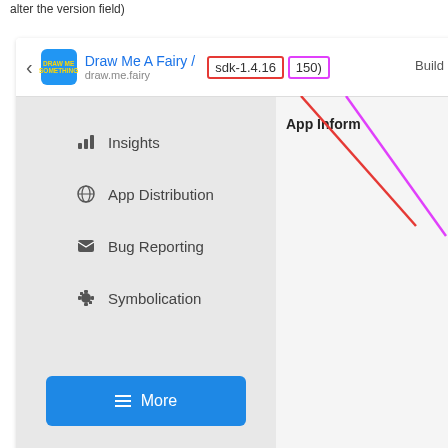alter the version field)
[Figure (screenshot): Screenshot of a mobile app dashboard interface showing a header with 'Draw Me A Fairy' app, sdk-1.4.16 highlighted in red box and 150) highlighted in pink/purple box, with red and pink arrows pointing down to these elements. The left sidebar shows menu items: Insights, App Distribution, Bug Reporting, Symbolication, and a blue 'More' button. The right panel shows 'App Inform' text (truncated).]